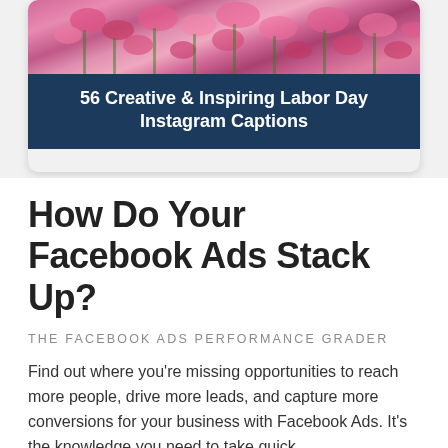[Figure (photo): A card-style blog preview block featuring a pink floral photograph at the top and a dark navy blue background with white bold title text reading '56 Creative & Inspiring Labor Day Instagram Captions']
How Do Your Facebook Ads Stack Up?
THE FACEBOOK ADS PERFORMANCE GRADER
Find out where you’re missing opportunities to reach more people, drive more leads, and capture more conversions for your business with Facebook Ads. It’s the knowledge you need to take quick